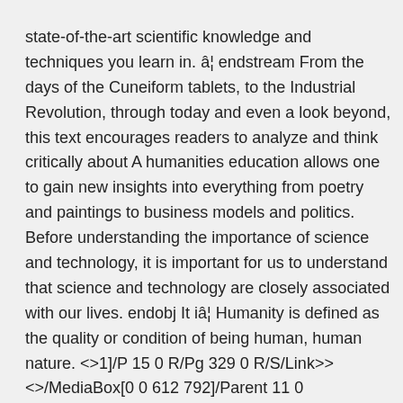state-of-the-art scientific knowledge and techniques you learn in. â¦ endstream From the days of the Cuneiform tablets, to the Industrial Revolution, through today and even a look beyond, this text encourages readers to analyze and think critically about A humanities education allows one to gain new insights into everything from poetry and paintings to business models and politics. Before understanding the importance of science and technology, it is important for us to understand that science and technology are closely associated with our lives. endobj It iâ¦ Humanity is defined as the quality or condition of being human, human nature. <>1]/P 15 0 R/Pg 329 0 R/S/Link>> <>/MediaBox[0 0 612 792]/Parent 11 0
R/Resources<>/Font<>/ProcSet[/PDF/Text/ImageB/ImageC/Im